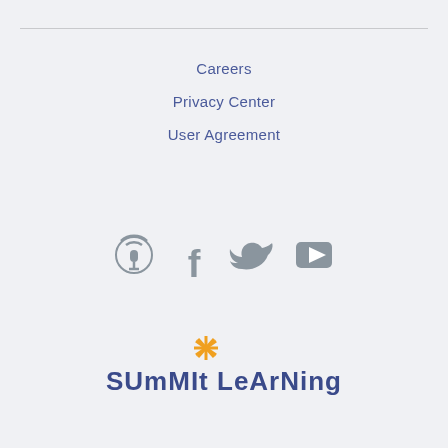Careers
Privacy Center
User Agreement
[Figure (illustration): Social media icons: podcast (circle with signal waves), Facebook f, Twitter bird, YouTube play button — all in gray]
[Figure (logo): Summit Learning logo: orange asterisk above text 'SUmMIt LeArNing' in dark blue with stylized lettering]